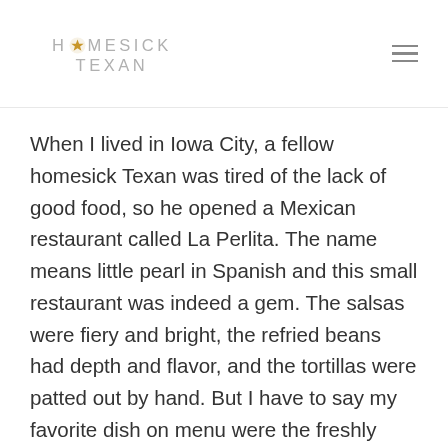HOMESICK TEXAN
When I lived in Iowa City, a fellow homesick Texan was tired of the lack of good food, so he opened a Mexican restaurant called La Perlita. The name means little pearl in Spanish and this small restaurant was indeed a gem. The salsas were fiery and bright, the refried beans had depth and flavor, and the tortillas were patted out by hand. But I have to say my favorite dish on menu were the freshly fried flautas.